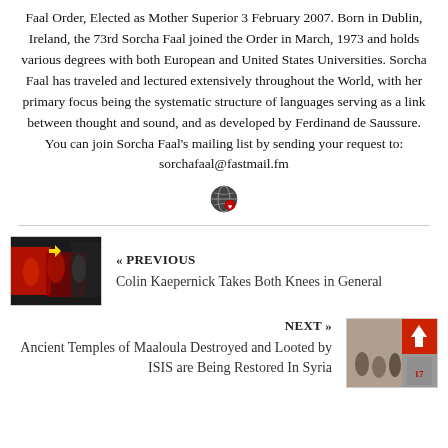Faal Order, Elected as Mother Superior 3 February 2007. Born in Dublin, Ireland, the 73rd Sorcha Faal joined the Order in March, 1973 and holds various degrees with both European and United States Universities. Sorcha Faal has traveled and lectured extensively throughout the World, with her primary focus being the systematic structure of languages serving as a link between thought and sound, and as developed by Ferdinand de Saussure. You can join Sorcha Faal's mailing list by sending your request to: sorchafaal@fastmail.fm
[Figure (illustration): Globe/earth icon with a small heart or flag symbol]
« PREVIOUS
Colin Kaepernick Takes Both Knees in General
[Figure (photo): Sports photo showing players including someone with a yellow arrow pointing at them, wearing red and black uniforms]
NEXT »
Ancient Temples of Maaloula Destroyed and Looted by ISIS are Being Restored In Syria
[Figure (photo): Photo of people in a building, with a red section containing a white upward arrow]